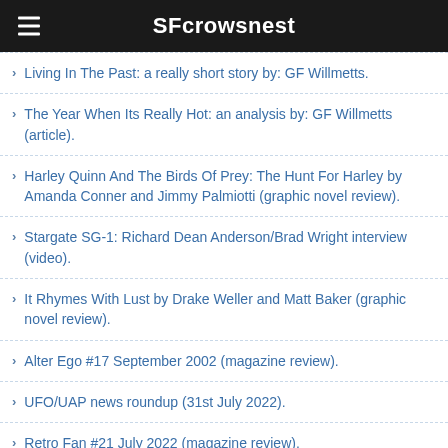SFcrowsnest
Living In The Past: a really short story by: GF Willmetts.
The Year When Its Really Hot: an analysis by: GF Willmetts (article).
Harley Quinn And The Birds Of Prey: The Hunt For Harley by Amanda Conner and Jimmy Palmiotti (graphic novel review).
Stargate SG-1: Richard Dean Anderson/Brad Wright interview (video).
It Rhymes With Lust by Drake Weller and Matt Baker (graphic novel review).
Alter Ego #17 September 2002 (magazine review).
UFO/UAP news roundup (31st July 2022).
Retro Fan #21 July 2022 (magazine review).
Last Journey of Paul W.R (science fiction film: trailer).
DC League of Super-Pets: a Mark Kermode film review (video).
The Umbrella Academy, Season Two (blu-ray series review).
Samaritan: Amazon Prime superhero film with old man Sylvester Stallone as a reluctant cape (trailer).